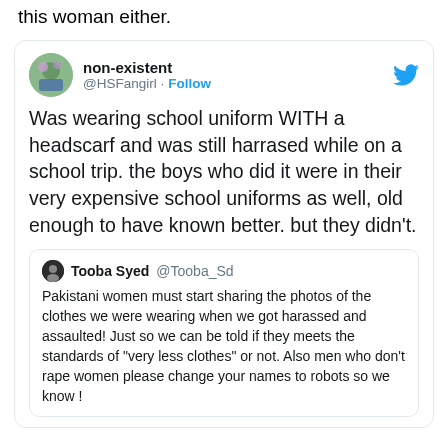A headscarf and a full school uniform didn't help this woman either.
[Figure (screenshot): Screenshot of a tweet by @HSFangirl (display name: non-existent) with Twitter bird icon. Tweet text: 'Was wearing school uniform WITH a headscarf and was still harrased while on a school trip. the boys who did it were in their very expensive school uniforms as well, old enough to have known better. but they didn't.' Contains a quoted tweet from Tooba Syed @Tooba_Sd: 'Pakistani women must start sharing the photos of the clothes we were wearing when we got harassed and assaulted! Just so we can be told if they meets the standards of "very less clothes" or not. Also men who don't rape women please change your names to robots so we know !']